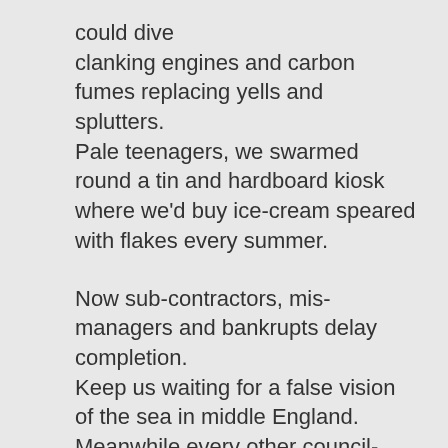could dive
clanking engines and carbon fumes replacing yells and splutters.
Pale teenagers, we swarmed round a tin and hardboard kiosk
where we'd buy ice-cream speared with flakes every summer.

Now sub-contractors, mis-managers and bankrupts delay completion.
Keep us waiting for a false vision of the sea in middle England.
Meanwhile every other council-painted door has a fresh veneer
and satellite-dishes mark the newly affluent from the newly poor.
Communal flats have been knocked down, replaced by home ownership
whilst the council chambers echoed to private sector